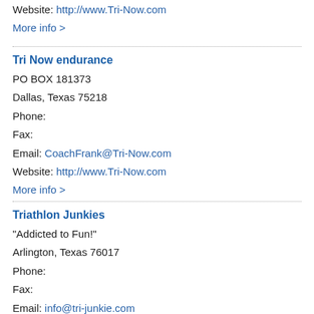Website: http://www.Tri-Now.com
More info >
Tri Now endurance
PO BOX 181373
Dallas, Texas 75218
Phone:
Fax:
Email: CoachFrank@Tri-Now.com
Website: http://www.Tri-Now.com
More info >
Triathlon Junkies
"Addicted to Fun!"
Arlington, Texas 76017
Phone:
Fax:
Email: info@tri-junkie.com